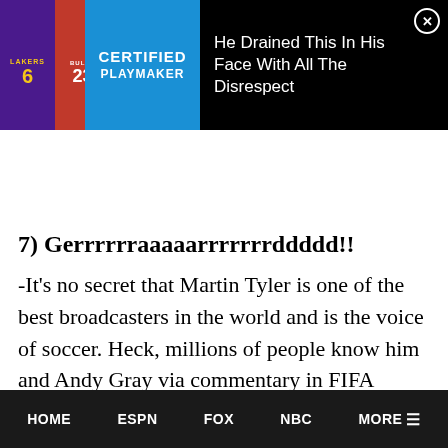[Figure (screenshot): Ad banner showing basketball jerseys (Lakers #6, Bulls #23) with 'Certified Playmaker' text on blue background, and ad title 'He Drained This In His Face With All The Disrespect' on black background with close button]
7) Gerrrrrraaaaarrrrrrrddddd!!
-It’s no secret that Martin Tyler is one of the best broadcasters in the world and is the voice of soccer. Heck, millions of people know him and Andy Gray via commentary in FIFA games from EA Sports. Gray and Tyler are at their absolute
HOME   ESPN   FOX   NBC   MORE ☰